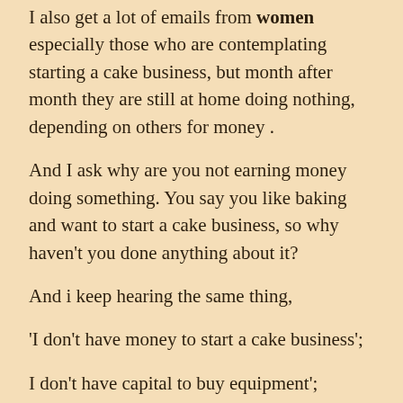I also get a lot of emails from women especially those who are contemplating starting a cake business, but month after month they are still at home doing nothing, depending on others for money .
And I ask why are you not earning money doing something. You say you like baking and want to start a cake business, so why haven't you done anything about it?
And i keep hearing the same thing,
'I don't have money to start a cake business';
I don't have capital to buy equipment';
'when I get money I will start';
' I don't have money to register the business';